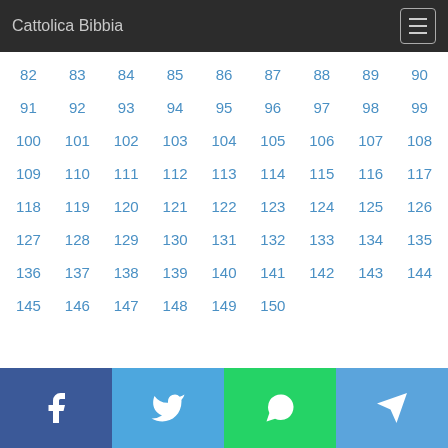Cattolica Bibbia
82 83 84 85 86 87 88 89 90 91 92 93 94 95 96 97 98 99 100 101 102 103 104 105 106 107 108 109 110 111 112 113 114 115 116 117 118 119 120 121 122 123 124 125 126 127 128 129 130 131 132 133 134 135 136 137 138 139 140 141 142 143 144 145 146 147 148 149 150
Facebook Twitter WhatsApp Telegram